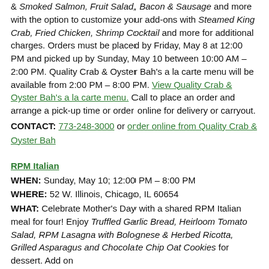& Smoked Salmon, Fruit Salad, Bacon & Sausage and more with the option to customize your add-ons with Steamed King Crab, Fried Chicken, Shrimp Cocktail and more for additional charges. Orders must be placed by Friday, May 8 at 12:00 PM and picked up by Sunday, May 10 between 10:00 AM – 2:00 PM. Quality Crab & Oyster Bah's a la carte menu will be available from 2:00 PM – 8:00 PM. View Quality Crab & Oyster Bah's a la carte menu. Call to place an order and arrange a pick-up time or order online for delivery or carryout.
CONTACT: 773-248-3000 or order online from Quality Crab & Oyster Bah
RPM Italian
WHEN: Sunday, May 10; 12:00 PM – 8:00 PM
WHERE: 52 W. Illinois, Chicago, IL 60654
WHAT: Celebrate Mother's Day with a shared RPM Italian meal for four! Enjoy Truffled Garlic Bread, Heirloom Tomato Salad, RPM Lasagna with Bolognese & Herbed Ricotta, Grilled Asparagus and Chocolate Chip Oat Cookies for dessert. Add on